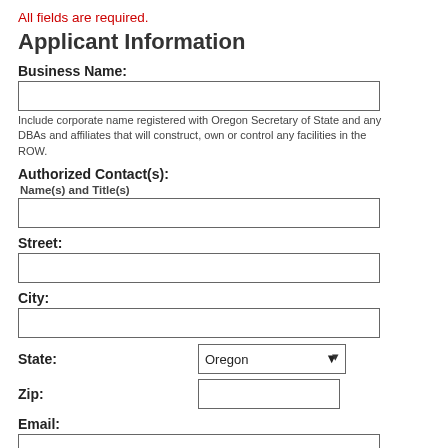All fields are required.
Applicant Information
Business Name:
Include corporate name registered with Oregon Secretary of State and any DBAs and affiliates that will construct, own or control any facilities in the ROW.
Authorized Contact(s):
Name(s) and Title(s)
Street:
City:
State:
Zip:
Email:
Phone: